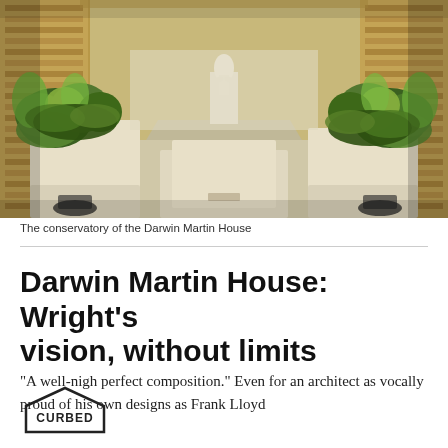[Figure (photo): Interior view of the conservatory of the Darwin Martin House, showing a long corridor with tall white planter boxes filled with tropical green plants, wooden slat walls, and a white classical sculpture on a pedestal at the far end.]
The conservatory of the Darwin Martin House
Darwin Martin House: Wright's vision, without limits
“A well-nigh perfect composition.” Even for an architect as vocally proud of his own designs as Frank Lloyd
[Figure (logo): Curbed logo — house-shaped outline with the word CURBED in bold uppercase letters inside]